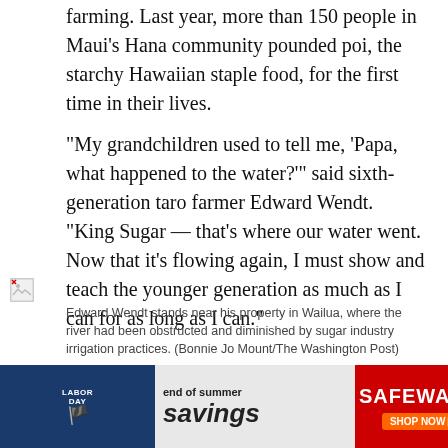farming. Last year, more than 150 people in Maui's Hana community pounded poi, the starchy Hawaiian staple food, for the first time in their lives.
“My grandchildren used to tell me, ‘Papa, what happened to the water?’” said sixth-generation taro farmer Edward Wendt. “King Sugar — that’s where our water went. Now that it’s flowing again, I must show and teach the younger generation as much as I can for as long as I can.”
[Figure (photo): Broken/missing image placeholder (photo of Edward Wendt near his property in Wailua)]
Edward Wendt stands near his property in Wailua, where the river had been obstructed and diminished by sugar industry irrigation practices. (Bonnie Jo Mount/The Washington Post)
Elsewhere on Maui, the Colorado-based land
[Figure (other): Advertisement banner: Safeway Labor Day end of summer savings]